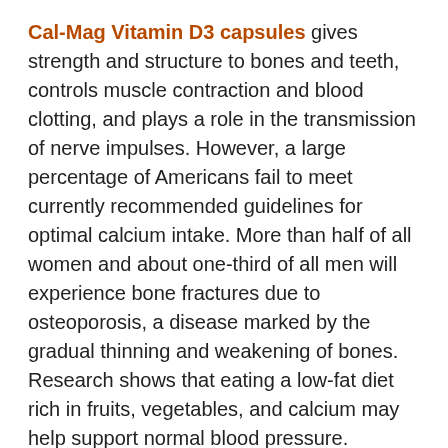Cal-Mag Vitamin D3 capsules gives strength and structure to bones and teeth, controls muscle contraction and blood clotting, and plays a role in the transmission of nerve impulses. However, a large percentage of Americans fail to meet currently recommended guidelines for optimal calcium intake. More than half of all women and about one-third of all men will experience bone fractures due to osteoporosis, a disease marked by the gradual thinning and weakening of bones. Research shows that eating a low-fat diet rich in fruits, vegetables, and calcium may help support normal blood pressure.
Our Solution: Neo-Cal and Chelated Cal-Mag
High potency and purity. Featuring a